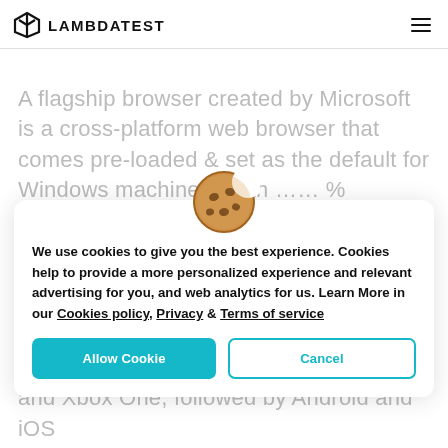LAMBDATEST
A flagship browser created by Microsoft is a cross-platform web browser that comes pre-loaded & set as the default for Windows machines. With …… % worldwide browser
[Figure (illustration): Cookie emoji icon — a round brown cookie with chocolate chips]
We use cookies to give you the best experience. Cookies help to provide a more personalized experience and relevant advertising for you, and web analytics for us. Learn More in our Cookies policy, Privacy & Terms of service
Allow Cookie   Cancel
and Xbox One, followed by Android and iOS